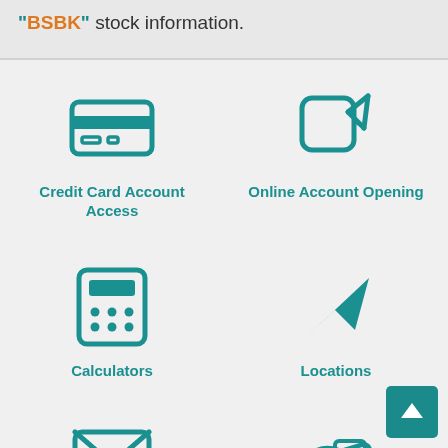"BSBK" stock information.
[Figure (illustration): Credit card icon - teal outline of a credit card with chip and stripes]
Credit Card Account Access
[Figure (illustration): Edit/pen icon - teal rounded square with pencil]
Online Account Opening
[Figure (illustration): Calculator icon - teal calculator with buttons]
Calculators
[Figure (illustration): Navigation/location arrow icon - teal arrow pointing northeast]
Locations
[Figure (illustration): Envelope/mail icon - teal envelope outline]
[Figure (illustration): Handshake icon - teal handshake with dollar bill]
[Figure (illustration): Scroll to top button - teal square with upward arrow]